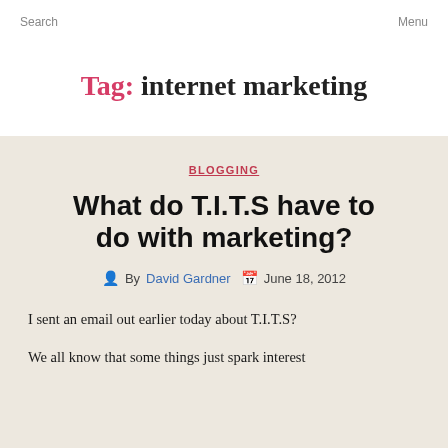Search   Menu
Tag: internet marketing
BLOGGING
What do T.I.T.S have to do with marketing?
By David Gardner   June 18, 2012
I sent an email out earlier today about T.I.T.S?

We all know that some things just spark interest